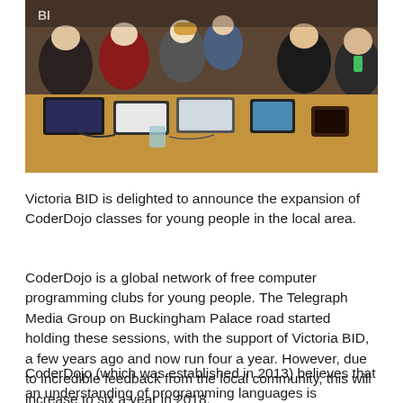[Figure (photo): Group of young people sitting around a large table with laptops and electronics, working on coding or tech projects in a workshop setting]
Victoria BID is delighted to announce the expansion of CoderDojo classes for young people in the local area.
CoderDojo is a global network of free computer programming clubs for young people. The Telegraph Media Group on Buckingham Palace road started holding these sessions, with the support of Victoria BID, a few years ago and now run four a year. However, due to incredible feedback from the local community, this will increase to six a year in 2018.
CoderDojo (which was established in 2013) believes that an understanding of programming languages is increasingly important in the modern world, that it's both better and easier to learn these